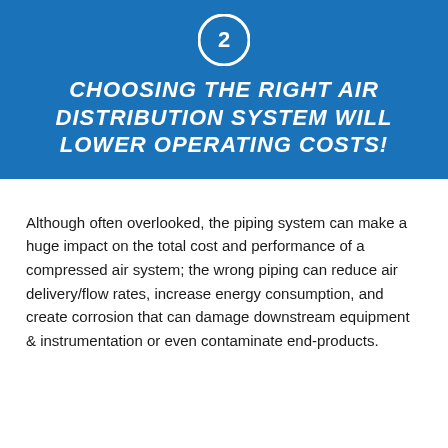CHOOSING THE RIGHT AIR DISTRIBUTION SYSTEM WILL LOWER OPERATING COSTS!
Although often overlooked, the piping system can make a huge impact on the total cost and performance of a compressed air system; the wrong piping can reduce air delivery/flow rates, increase energy consumption, and create corrosion that can damage downstream equipment & instrumentation or even contaminate end-products.